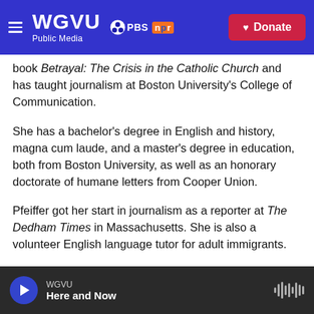WGVU Public Media | PBS | NPR | Donate
book Betrayal: The Crisis in the Catholic Church and has taught journalism at Boston University's College of Communication.
She has a bachelor's degree in English and history, magna cum laude, and a master's degree in education, both from Boston University, as well as an honorary doctorate of humane letters from Cooper Union.
Pfeiffer got her start in journalism as a reporter at The Dedham Times in Massachusetts. She is also a volunteer English language tutor for adult immigrants.
WGVU | Here and Now